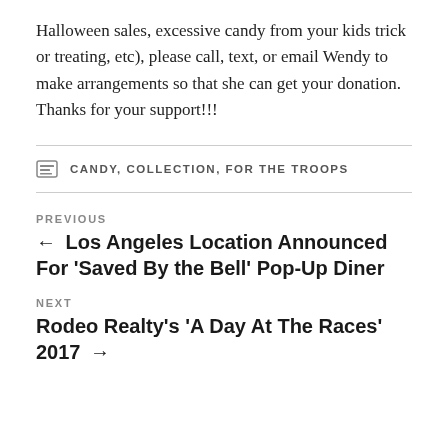Halloween sales, excessive candy from your kids trick or treating, etc), please call, text, or email Wendy to make arrangements so that she can get your donation. Thanks for your support!!!
CATEGORIES: CANDY, COLLECTION, FOR THE TROOPS
PREVIOUS
← Los Angeles Location Announced For 'Saved By the Bell' Pop-Up Diner
NEXT
Rodeo Realty's 'A Day At The Races' 2017 →